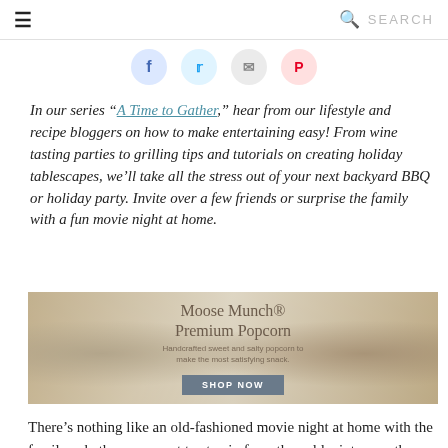☰  SEARCH
[Figure (other): Social sharing buttons row: Facebook (blue), Twitter (light blue), Email (gray), Pinterest (red/pink)]
In our series “A Time to Gather,” hear from our lifestyle and recipe bloggers on how to make entertaining easy! From wine tasting parties to grilling tips and tutorials on creating holiday tablescapes, we’ll take all the stress out of your next backyard BBQ or holiday party. Invite over a few friends or surprise the family with a fun movie night at home.
[Figure (photo): Advertisement banner for Moose Munch® Premium Popcorn showing various flavored popcorns in square dishes. Text: Moose Munch® Premium Popcorn. Handcrafted sweet and salty popcorn to make the most satisfying snack. SHOP NOW button.]
There’s nothing like an old-fashioned movie night at home with the family, whether you want to stay in from the cold winter weather or it’s just too dang hot in summer, or you’re